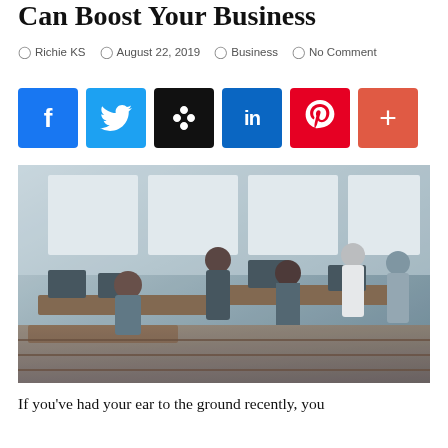Can Boost Your Business
Richie KS   August 22, 2019   Business   No Comment
[Figure (other): Social media share buttons: Facebook, Twitter, Buffer/Layers, LinkedIn, Pinterest, and a plus/more button]
[Figure (photo): Open-plan office with multiple people working at desks with computers, some standing and collaborating.]
If you've had your ear to the ground recently, you